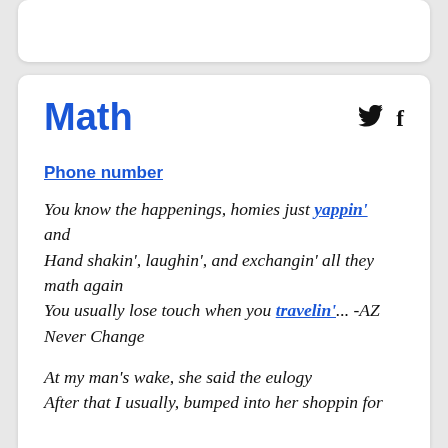Math
Phone number
You know the happenings, homies just yappin' and
Hand shakin', laughin', and exchangin' all they math again
You usually lose touch when you travelin'... -AZ Never Change
At my man's wake, she said the eulogy
After that I usually, bumped into her shoppin for